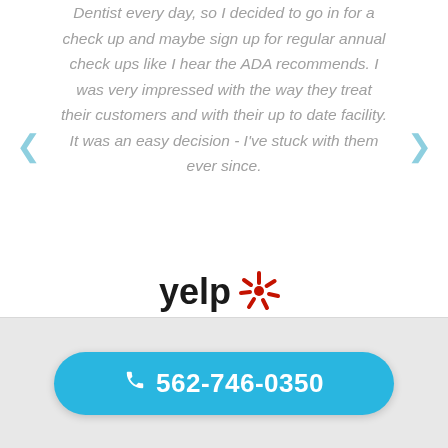Dentist every day, so I decided to go in for a check up and maybe sign up for regular annual check ups like I hear the ADA recommends. I was very impressed with the way they treat their customers and with their up to date facility. It was an easy decision - I've stuck with them ever since.
[Figure (logo): Yelp logo with red starburst icon]
Bill Morgan
Belle Gardens
562-746-0350